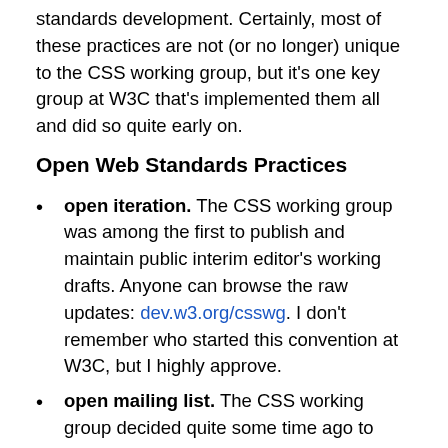standards development. Certainly, most of these practices are not (or no longer) unique to the CSS working group, but it's one key group at W3C that's implemented them all and did so quite early on.
Open Web Standards Practices
open iteration. The CSS working group was among the first to publish and maintain public interim editor's working drafts. Anyone can browse the raw updates: dev.w3.org/csswg. I don't remember who started this convention at W3C, but I highly approve.
open mailing list. The CSS working group decided quite some time ago to switch all CSS spec discussion from the member-only w3c-css-wg mailing list to the already public www-style mailing list. The member-only list is pretty much just used for administrivia now.
open irc channel. Since as long as I know, the CSS Working Group has used irc://irc.w3.org:6665/css for